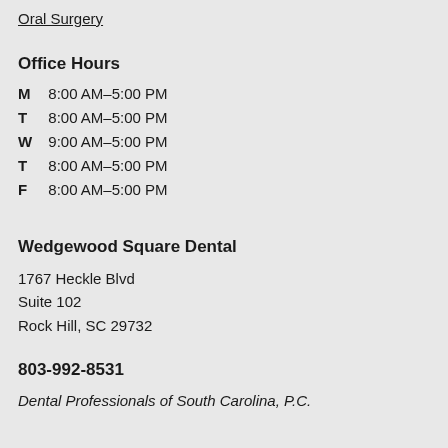Oral Surgery
Office Hours
M  8:00 AM–5:00 PM
T  8:00 AM–5:00 PM
W  9:00 AM–5:00 PM
T  8:00 AM–5:00 PM
F  8:00 AM–5:00 PM
Wedgewood Square Dental
1767 Heckle Blvd
Suite 102
Rock Hill, SC 29732
803-992-8531
Dental Professionals of South Carolina, P.C.